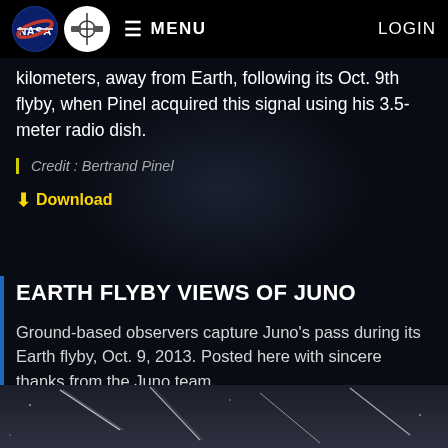MENU  LOGIN
kilometers away from Earth, following its Oct. 9th flyby, when Pinel acquired this signal using his 3.5-meter radio dish.
Credit : Bertrand Pinel
⬇ Download
EARTH FLYBY VIEWS OF JUNO
Ground-based observers capture Juno's pass during its Earth flyby, Oct. 9, 2013. Posted here with sincere thanks from the Juno team.
[Figure (photo): Astronomical photo showing star trails against a dark sky background]